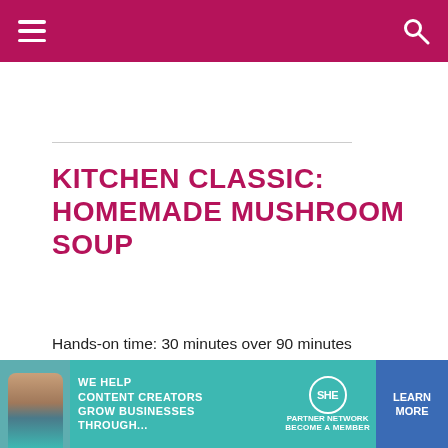KITCHEN CLASSIC: HOMEMADE MUSHROOM SOUP
Hands-on time: 30 minutes over 90 minutes
Time to table: Minimum 24 hours, preferably 48 hours
Makes 5-1/2 cups
4 cups chicken stock, preferably
[Figure (photo): Advertisement banner: SHE Media Partner Network - 'We help content creators grow businesses through...' with Learn More button]